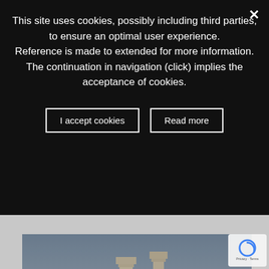This site uses cookies, possibly including third parties, to ensure an optimal user experience. Reference is made to extended for more information. The continuation in navigation (click) implies the acceptance of cookies.
I accept cookies
Read more
Latest Posts
[Figure (photo): Archaeological ruins showing two ancient columns standing among stone rubble, with a hazy sky background. Site appears to be Tharros archaeological area in Sardinia, Italy.]
On 2 June the archaeological area of Tharros will re... to the public.